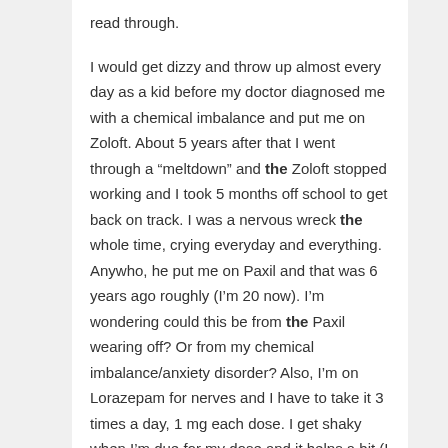read through.

I would get dizzy and throw up almost every day as a kid before my doctor diagnosed me with a chemical imbalance and put me on Zoloft. About 5 years after that I went through a “meltdown” and the Zoloft stopped working and I took 5 months off school to get back on track. I was a nervous wreck the whole time, crying everyday and everything. Anywho, he put me on Paxil and that was 6 years ago roughly (I’m 20 now). I’m wondering could this be from the Paxil wearing off? Or from my chemical imbalance/anxiety disorder? Also, I’m on Lorazepam for nerves and I have to take it 3 times a day, 1 mg each dose. I get shaky when I’m due for my dose and it helps a bit (I get